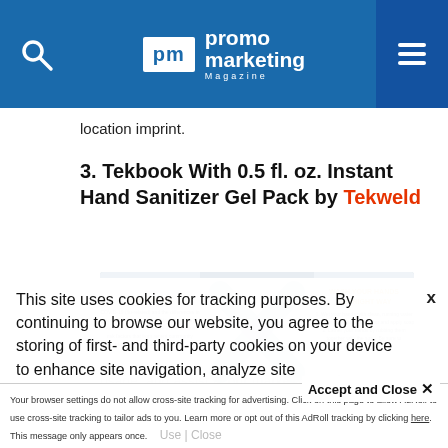promo marketing Magazine
location imprint.
3. Tekbook With 0.5 fl. oz. Instant Hand Sanitizer Gel Pack by Tekweld
[Figure (photo): Product image of Tekbook with hand sanitizer gel pack showing symptoms and wash your hands the right way information panels]
This site uses cookies for tracking purposes. By continuing to browse our website, you agree to the storing of first- and third-party cookies on your device to enhance site navigation, analyze site usage, and assist in our marketing and
Your browser settings do not allow cross-site tracking for advertising. Click on this page to allow AdRoll to use cross-site tracking to tailor ads to you. Learn more or opt out of this AdRoll tracking by clicking here. This message only appears once.